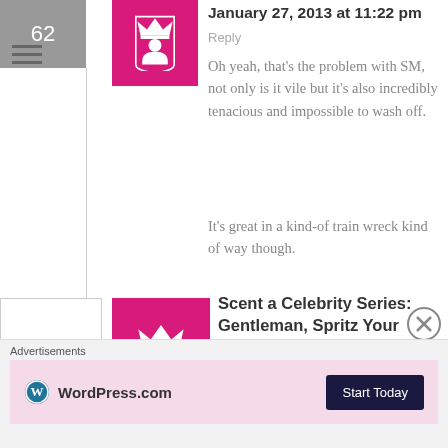62
January 27, 2013 at 11:22 pm
Reply
Oh yeah, that's the problem with SM, not only is it vile but it's also incredibly tenacious and impossible to wash off.
It's great in a kind-of train wreck kind of way though.
63
Scent a Celebrity Series: Gentleman, Spritz Your Perfumes – Scenting the Queens of RuPaul's Drag Race | The Candy Perfume
Boy on Mar 27, 2013 at 11:06 am
Advertisements
[Figure (logo): WordPress.com logo with Start Today button]